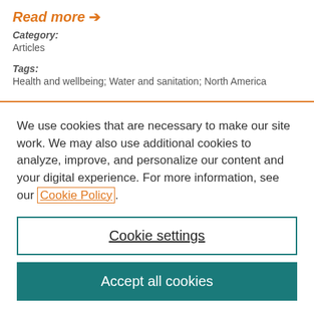Read more →
Category: Articles
Tags: Health and wellbeing; Water and sanitation;  North America
We use cookies that are necessary to make our site work. We may also use additional cookies to analyze, improve, and personalize our content and your digital experience. For more information, see our Cookie Policy.
Cookie settings
Accept all cookies